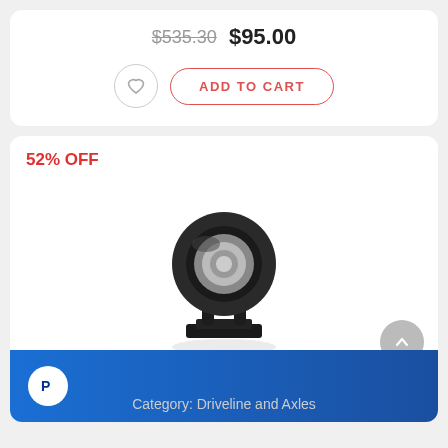$535.30  $95.00
ADD TO CART
52% OFF
[Figure (photo): Product photo of a Westar driveshaft center support bearing with rubber mount and metal bracket base]
Brand: Westar®
1994 International 2554 L6-7.6L DIESEL
Category: Driveline and Axles